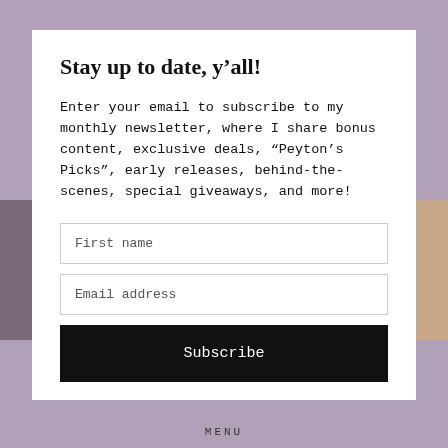Stay up to date, y’all!
Enter your email to subscribe to my monthly newsletter, where I share bonus content, exclusive deals, “Peyton’s Picks”, early releases, behind-the-scenes, special giveaways, and more!
First name
Email address
Subscribe
MENU